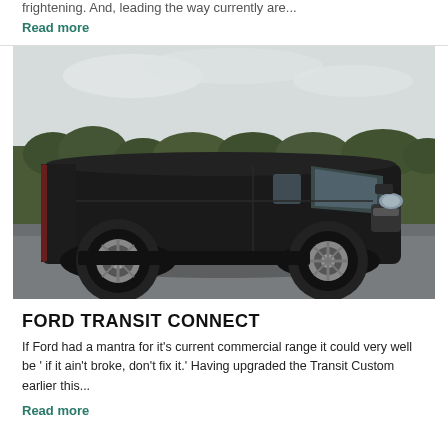frightening. And, leading the way currently are...
Read more
[Figure (photo): Side-profile photograph of a black Ford Transit Connect van parked on a road with hedges and overcast sky in the background.]
FORD TRANSIT CONNECT
If Ford had a mantra for it's current commercial range it could very well be ' if it ain't broke, don't fix it.' Having upgraded the Transit Custom earlier this...
Read more